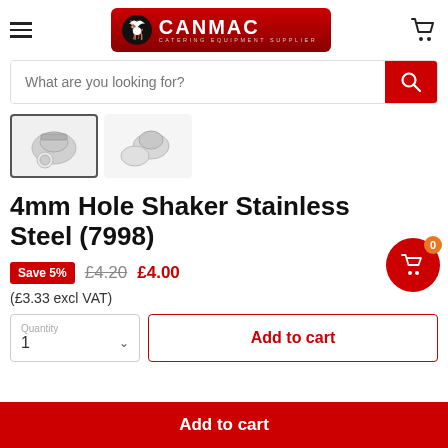[Figure (logo): Canmac Catering Equipment Supplier logo — red background with white deer/chef icon and CANMAC text]
What are you looking for?
[Figure (photo): Two thumbnail images of a stainless steel shaker with mesh top]
4mm Hole Shaker Stainless Steel (7998)
Save 5%  £4.20  £4.00
(£3.33 excl VAT)
Quantity 1  Add to cart
Add to cart